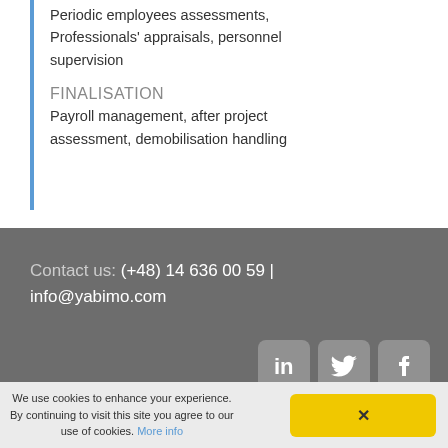Periodic employees assessments, Professionals' appraisals, personnel supervision
FINALISATION
Payroll management, after project assessment, demobilisation handling
Contact us: (+48) 14 636 00 59 | info@yabimo.com
[Figure (infographic): LinkedIn, Twitter, and Facebook social media icons in white rounded-square buttons on gray background]
We use cookies to enhance your experience. By continuing to visit this site you agree to our use of cookies. More info